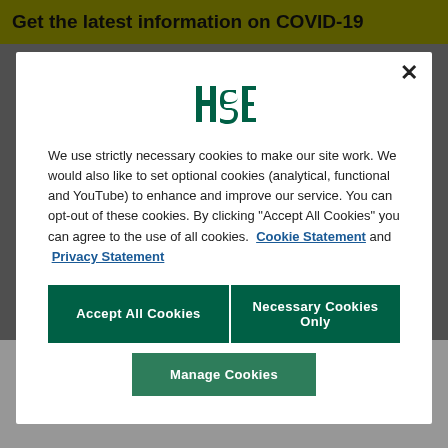Get the latest information on COVID-19
[Figure (screenshot): Cookie consent modal dialog with HSE logo, cookie notice text, and three buttons: Accept All Cookies, Necessary Cookies Only, Manage Cookies]
We use strictly necessary cookies to make our site work. We would also like to set optional cookies (analytical, functional and YouTube) to enhance and improve our service. You can opt-out of these cookies. By clicking “Accept All Cookies” you can agree to the use of all cookies. Cookie Statement and Privacy Statement
Is féidir na cleachtaí solúbthachta seo a dhéanamh sa bhaile c Feedback nrú le do